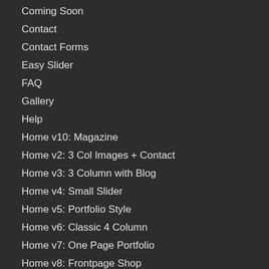Coming Soon
Contact
Contact Forms
Easy Slider
FAQ
Gallery
Help
Home v10: Magazine
Home v2: 3 Col Images + Contact
Home v3: 3 Column with Blog
Home v4: Small Slider
Home v5: Portfolio Style
Home v6: Classic 4 Column
Home v7: One Page Portfolio
Home v8: Frontpage Shop
Home v9: Videos and Parallax
Hr Elements